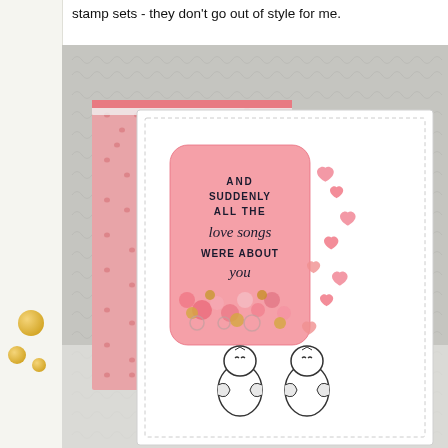stamp sets - they don't go out of style for me.
[Figure (photo): A handmade greeting card with a shaker window element. The card features a white front panel with a pink rectangular shaker window containing sequins and the sentiment 'AND SUDDENLY ALL THE love songs WERE ABOUT you'. Pink heart embellishments cascade down the right side of the window. Two small penguin figures are placed at the bottom of the card. The card base has a pink and white patterned paper. A gray patterned background paper is visible behind the card.]